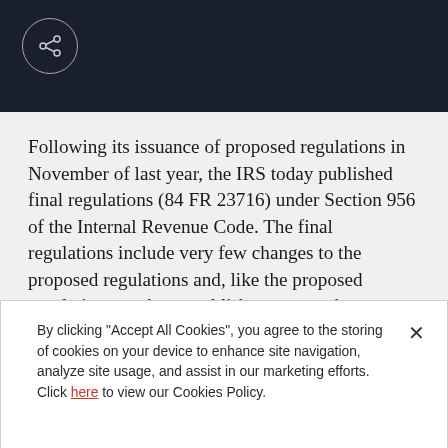[Figure (other): Dark navy header bar with a circular share icon button in the top left corner]
Following its issuance of proposed regulations in November of last year, the IRS today published final regulations (84 FR 23716) under Section 956 of the Internal Revenue Code. The final regulations include very few changes to the proposed regulations and, like the proposed regulations, seek to establish symmetry between the effect of the Section 956
By clicking "Accept All Cookies", you agree to the storing of cookies on your device to enhance site navigation, analyze site usage, and assist in our marketing efforts. Click here to view our Cookies Policy.